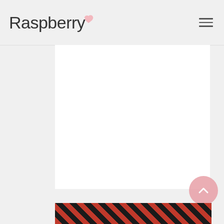Raspberry
custom Watters gowns in a brand new French Blue hue.
[Figure (photo): Bottom portion of page showing a red and black plaid/tartan fabric photo strip at the very bottom.]